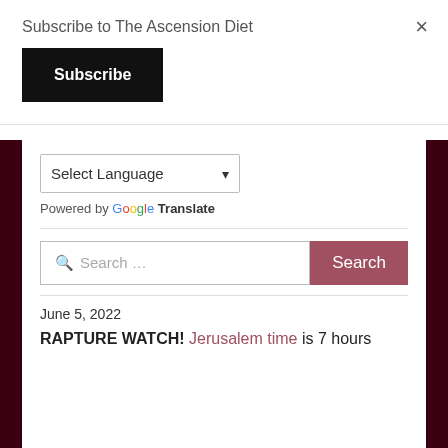Subscribe to The Ascension Diet
Subscribe
×
Select Language ▼
Powered by Google Translate
Search …
Search
June 5, 2022
RAPTURE WATCH! Jerusalem time is 7 hours